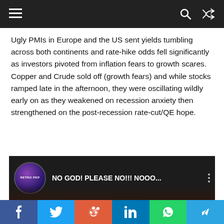Navigation bar with hamburger menu, search icon, and shuffle icon
Ugly PMIs in Europe and the US sent yields tumbling across both continents and rate-hike odds fell significantly as investors pivoted from inflation fears to growth scares. Copper and Crude sold off (growth fears) and while stocks ramped late in the afternoon, they were oscillating wildly early on as they weakened on recession anxiety then strengthened on the post-recession rate-cut/QE hope.
[Figure (screenshot): YouTube video thumbnail with RETRO PEP channel logo and title 'NO GOD! PLEASE NO!!! NOOO...']
Social sharing bar with Facebook, Twitter, Reddit, LinkedIn, WhatsApp, Telegram buttons